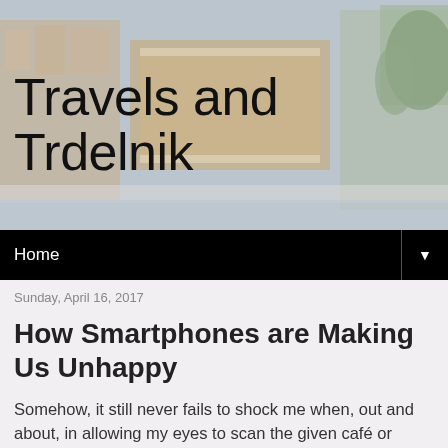[Figure (photo): Blog header image showing a European street scene with ornate building facade and trees, with 'Travels and Trdelnik' blog title overlaid]
Travels and Trdelnik
Home ▼
Sunday, April 16, 2017
How Smartphones are Making Us Unhappy
Somehow, it still never fails to shock me when, out and about, in allowing my eyes to scan the given café or restaurant I am in, I see almost everyone on their smartphones.  Sure, some people are chatting with their companion.  But the cell phones are either laying in the table in plain sight, or even more shockingly, one of the people is picking up their cell phone regularly to look at its screen and type.